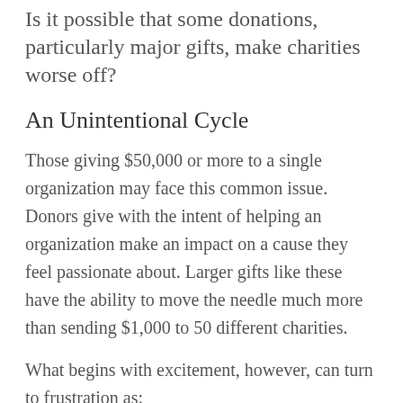Is it possible that some donations, particularly major gifts, make charities worse off?
An Unintentional Cycle
Those giving $50,000 or more to a single organization may face this common issue. Donors give with the intent of helping an organization make an impact on a cause they feel passionate about. Larger gifts like these have the ability to move the needle much more than sending $1,000 to 50 different charities.
What begins with excitement, however, can turn to frustration as: